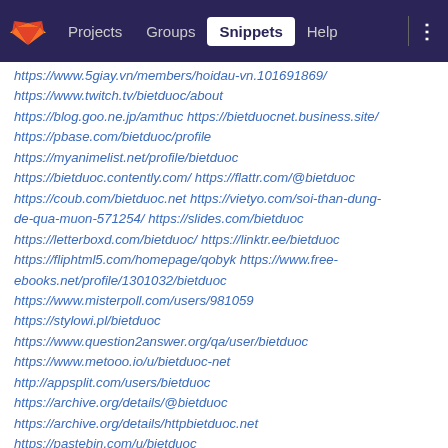Projects  Groups  Snippets  Help
https://www.5giay.vn/members/hoidau-vn.101691869/ https://www.twitch.tv/bietduoc/about https://blog.goo.ne.jp/amthuc https://bietduocnet.business.site/ https://pbase.com/bietduoc/profile https://myanimelist.net/profile/bietduoc https://bietduoc.contently.com/ https://flattr.com/@bietduoc https://coub.com/bietduoc.net https://vietyo.com/soi-than-dung-de-qua-muon-571254/ https://slides.com/bietduoc https://letterboxd.com/bietduoc/ https://linktr.ee/bietduoc https://fliphtml5.com/homepage/qobyk https://www.free-ebooks.net/profile/1301032/bietduoc https://www.misterpoll.com/users/981059 https://stylowi.pl/bietduoc https://www.question2answer.org/qa/user/bietduoc https://www.metooo.io/u/bietduoc-net http://appsplit.com/users/bietduoc https://archive.org/details/@bietduoc https://archive.org/details/httpbietduoc.net https://pastebin.com/u/bietduoc https://www.thingiverse.com/bietduoc/designs https://devpost.com/vunt-cna https://tapas.io/bietduoc